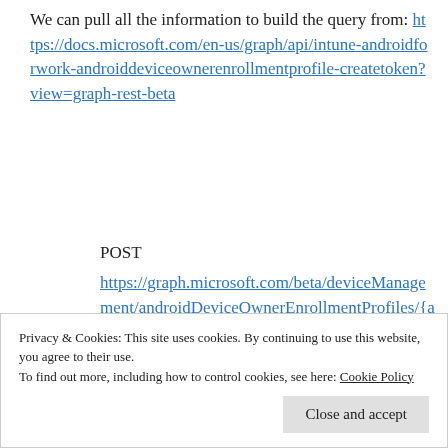We can pull all the information to build the query from: https://docs.microsoft.com/en-us/graph/api/intune-androidforwork-androiddeviceownerenrollmentprofile-createtoken?view=graph-rest-beta
POST https://graph.microsoft.com/beta/deviceManagement/androidDeviceOwnerEnrollmentProfiles/{androidDeviceOwnerEnrollmentProfileId}/createToken
Privacy & Cookies: This site uses cookies. By continuing to use this website, you agree to their use.
To find out more, including how to control cookies, see here: Cookie Policy